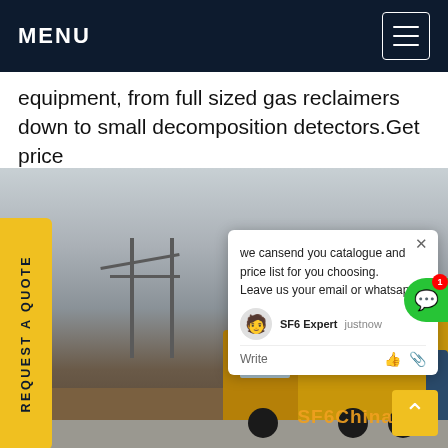MENU
equipment, from full sized gas reclaimers down to small decomposition detectors.Get price
[Figure (photo): A yellow SF6 gas service truck parked at an electrical substation with high-voltage power transmission towers in the background. A worker in blue is visible near the truck.]
REQUEST A QUOTE
we cansend you catalogue and price list for you choosing.
Leave us your email or whatsapp.
SF6 Expert   justnow
Write
SF6China